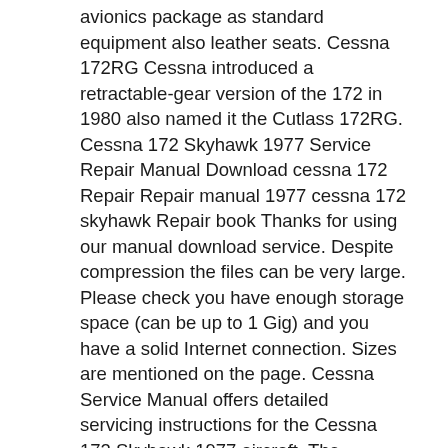avionics package as standard equipment also leather seats. Cessna 172RG Cessna introduced a retractable-gear version of the 172 in 1980 also named it the Cutlass 172RG. Cessna 172 Skyhawk 1977 Service Repair Manual Download cessna 172 Repair Repair manual 1977 cessna 172 skyhawk Repair book Thanks for using our manual download service. Despite compression the files can be very large. Please check you have enough storage space (can be up to 1 Gig) and you have a solid Internet connection. Sizes are mentioned on the page. Cessna Service Manual offers detailed servicing instructions for the Cessna 172 Skyhawk 1977 aircraft. The Service repair manual will give you complete step by step information on repair, servicing and preventative maintenance for your Cessna. The manual is highly detailed with photos and illustrations to help guide you through every repair and troubleshooting procedure. This manual contains all you need to know to keep your Cessna